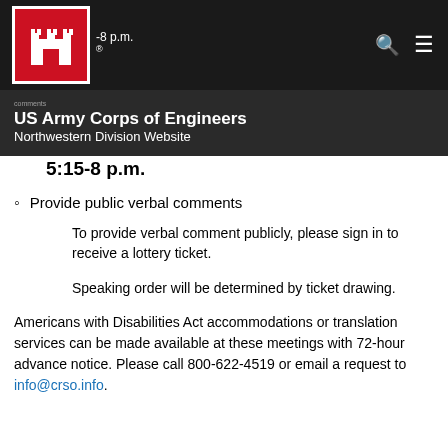US Army Corps of Engineers Northwestern Division Website
5:15-8 p.m.
Provide public verbal comments
To provide verbal comment publicly, please sign in to receive a lottery ticket.
Speaking order will be determined by ticket drawing.
Americans with Disabilities Act accommodations or translation services can be made available at these meetings with 72-hour advance notice. Please call 800-622-4519 or email a request to info@crso.info.